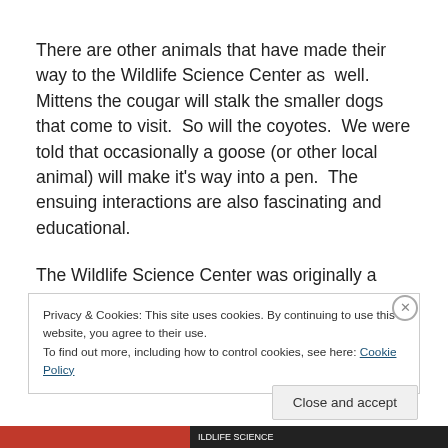There are other animals that have made their way to the Wildlife Science Center as  well.  Mittens the cougar will stalk the smaller dogs that come to visit.  So will the coyotes.  We were told that occasionally a goose (or other local animal) will make it's way into a pen.  The ensuing interactions are also fascinating and educational.
The Wildlife Science Center was originally a DNR project, and is situated on leased DNR land.  In the early 90's
Privacy & Cookies: This site uses cookies. By continuing to use this website, you agree to their use.
To find out more, including how to control cookies, see here: Cookie Policy
Close and accept